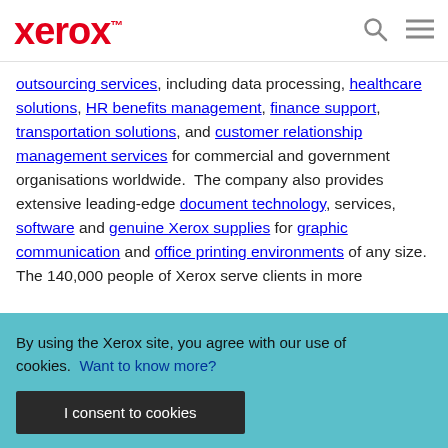xerox™
outsourcing services, including data processing, healthcare solutions, HR benefits management, finance support, transportation solutions, and customer relationship management services for commercial and government organisations worldwide.  The company also provides extensive leading-edge document technology, services, software and genuine Xerox supplies for graphic communication and office printing environments of any size. The 140,000 people of Xerox serve clients in more
By using the Xerox site, you agree with our use of cookies.  Want to know more?
I consent to cookies